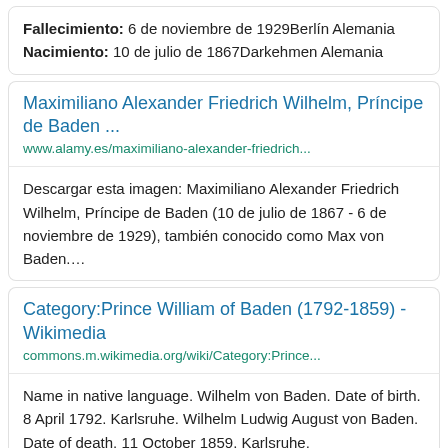Fallecimiento: 6 de noviembre de 1929Berlín Alemania
Nacimiento: 10 de julio de 1867Darkehmen Alemania
Maximiliano Alexander Friedrich Wilhelm, Príncipe de Baden ...
www.alamy.es/maximiliano-alexander-friedrich...
Descargar esta imagen: Maximiliano Alexander Friedrich Wilhelm, Príncipe de Baden (10 de julio de 1867 - 6 de noviembre de 1929), también conocido como Max von Baden….
Category:Prince William of Baden (1792-1859) - Wikimedia
commons.m.wikimedia.org/wiki/Category:Prince...
Name in native language. Wilhelm von Baden. Date of birth. 8 April 1792. Karlsruhe. Wilhelm Ludwig August von Baden. Date of death. 11 October 1859. Karlsruhe.